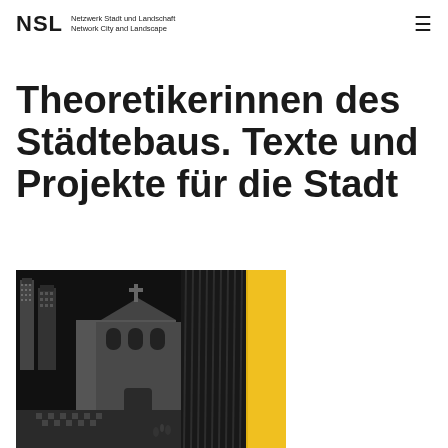NSL Netzwerk Stadt und Landschaft Network City and Landscape
Theoretikerinnen des Städtebaus. Texte und Projekte für die Stadt
[Figure (illustration): Book cover illustration showing a detailed black and white architectural drawing of a city scene with skyscrapers, a church, and urban street life, partially overlaid with a dark curtain-like element, on a yellow background]